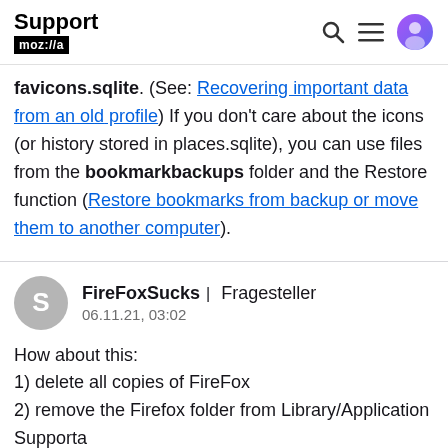Support mozilla | [search] [menu] [avatar]
favicons.sqlite. (See: Recovering important data from an old profile) If you don't care about the icons (or history stored in places.sqlite), you can use files from the bookmarkbackups folder and the Restore function (Restore bookmarks from backup or move them to another computer).
FireFoxSucks | Fragesteller
06.11.21, 03:02

How about this:
1) delete all copies of FireFox
2) remove the Firefox folder from Library/Application Support
so there are no profiles or .ini to be found.